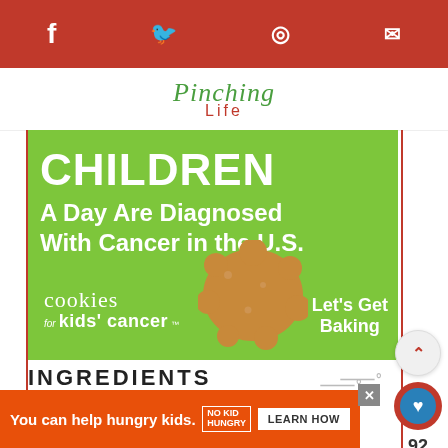Pinching Life
[Figure (infographic): Cookies for Kids Cancer advertisement. Green background. Large white text: CHILDREN A Day Are Diagnosed With Cancer in the U.S. Cookies for kids cancer logo. Let's Get Baking text with cookie image.]
INGREDIENTS
[Figure (infographic): No Kid Hungry bottom banner advertisement. Orange background. Text: You can help hungry kids. No Kid Hungry logo. Learn How button. Close X button.]